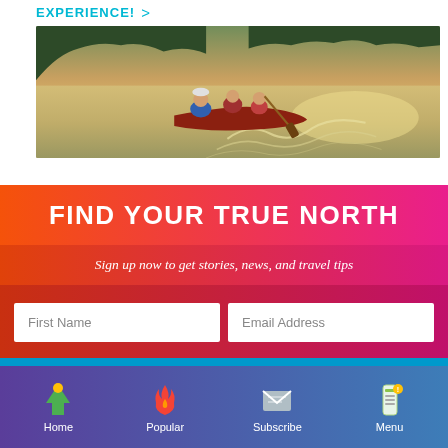EXPERIENCE! >
[Figure (photo): People paddling a red canoe on a calm river at sunset, with forested hills reflected in the water and wake trailing behind the boat.]
FIND YOUR TRUE NORTH
Sign up now to get stories, news, and travel tips
First Name | Email Address
Home | Popular | Subscribe | Menu